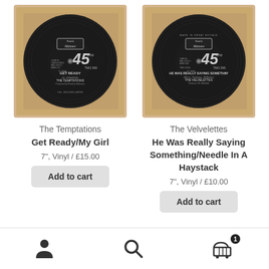[Figure (photo): Photo of Tamla Motown 45 RPM vinyl record for The Temptations 'Get Ready', catalog number TMG 599, black label on cardboard background]
The Temptations
Get Ready/My Girl
7", Vinyl / £15.00
Add to cart
[Figure (photo): Photo of Tamla Motown 45 RPM vinyl record for The Velvelettes 'He Was Really Saying Something', catalog number TMG 595, black label on cardboard background]
The Velvelettes
He Was Really Saying Something/Needle In A Haystack
7", Vinyl / £10.00
Add to cart